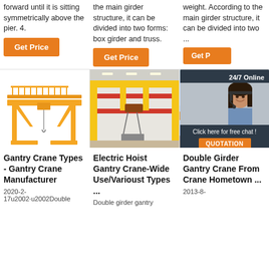forward until it is sitting symmetrically above the pier. 4.
[Figure (other): Orange 'Get Price' button]
the main girder structure, it can be divided into two forms: box girder and truss.
[Figure (other): Orange 'Get Price' button]
weight. According to the main girder structure, it can be divided into two ...
[Figure (other): Orange 'Get Price' button (partially visible)]
[Figure (photo): Yellow single girder gantry crane illustration on white background]
[Figure (photo): Yellow and red electric hoist gantry crane in warehouse interior]
[Figure (photo): Double girder gantry crane (partially visible)]
[Figure (other): 24/7 Online popup overlay with customer service representative and QUOTATION button]
Gantry Crane Types - Gantry Crane Manufacturer
2020-2-17u2002·u2002Double
Electric Hoist Gantry Crane-Wide Use/Varioust Types ...
Double girder gantry
Double Girder Gantry Crane From Crane Hometown ...
2013-8-